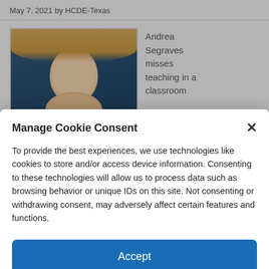May 7, 2021 by HCDE-Texas
[Figure (photo): Portrait photo of a blonde woman smiling, against a dark blue background]
Andrea Segraves misses teaching in a classroom
Manage Cookie Consent
To provide the best experiences, we use technologies like cookies to store and/or access device information. Consenting to these technologies will allow us to process data such as browsing behavior or unique IDs on this site. Not consenting or withdrawing consent, may adversely affect certain features and functions.
Accept
Cookie Policy  Privacy Policy